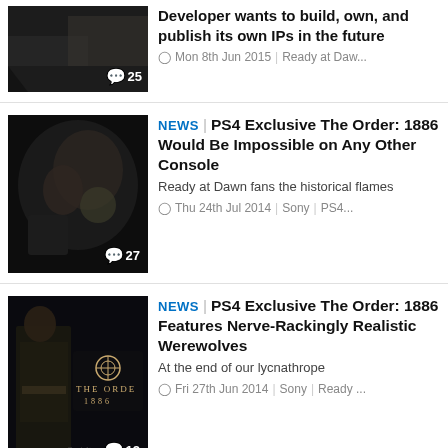[Figure (photo): Dark game screenshot thumbnail with comment badge showing 25]
Developer wants to build, own, and publish its own IPs in the future
Mon 8th Jun 2015 | Ready at Daw...
[Figure (photo): Dark action game screenshot thumbnail with comment badge showing 27]
NEWS | PS4 Exclusive The Order: 1886 Would Be Impossible on Any Other Console
Ready at Dawn fans the historical flames
Thu 24th Jul 2014 | Sony | PS4...
[Figure (photo): The Order 1886 poster with armored character and logo, comment badge showing 12]
NEWS | PS4 Exclusive The Order: 1886 Features Nerve-Rackingly Realistic Werewolves
At the end of our lycnathrope
Fri 27th Jun 2014 | Sony | Ready ...